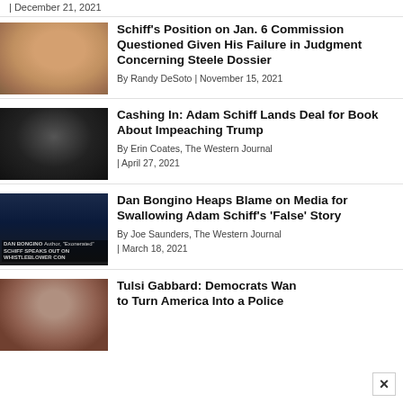| December 21, 2021
[Figure (photo): Headshot of Adam Schiff]
Schiff's Position on Jan. 6 Commission Questioned Given His Failure in Judgment Concerning Steele Dossier
By Randy DeSoto | November 15, 2021
[Figure (photo): Adam Schiff in dark suit at podium]
Cashing In: Adam Schiff Lands Deal for Book About Impeaching Trump
By Erin Coates, The Western Journal
| April 27, 2021
[Figure (photo): Dan Bongino on TV set with chyron reading SCHIFF SPEAKS OUT ON WHISTLEBLOWER CON]
Dan Bongino Heaps Blame on Media for Swallowing Adam Schiff's 'False' Story
By Joe Saunders, The Western Journal
| March 18, 2021
[Figure (photo): Tulsi Gabbard headshot]
Tulsi Gabbard: Democrats Want to Turn America Into a Police